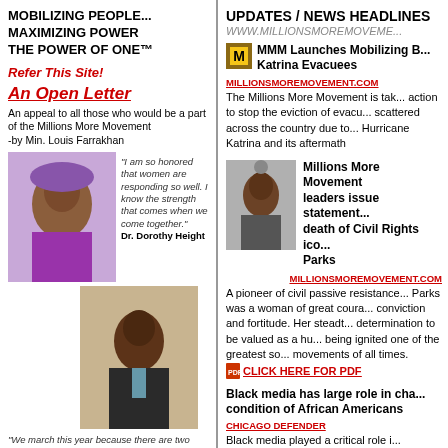MOBILIZING PEOPLE... MAXIMIZING POWER THE POWER OF ONE™
Refer This Site!
An Open Letter
An appeal to all those who would be a part of the Millions More Movement
-by Min. Louis Farrakhan
[Figure (photo): Photo of Dr. Dorothy Height with quote: I am so honored that women are responding so well. I know the strength that comes when we come together. Dr. Dorothy Height]
[Figure (photo): Photo of Reverend Jesse Jackson with quote: We march this year because there are two Americas, where gaps continue to exist. -Reverend Jesse Jackson]
UPDATES / NEWS HEADLINES
WWW.MILLIONSMOREMOVEME...
MMM Launches Mobilizing B... Katrina Evacuees
MILLIONSMOREMOVEMENT.COM
The Millions More Movement is tak... action to stop the eviction of evacu... scattered across the country due to... Hurricane Katrina and its aftermath
[Figure (photo): Photo related to Millions More Movement leaders statement on death of Civil Rights icon Rosa Parks]
Millions More Movement leaders issue statement... death of Civil Rights ico... Parks
MILLIONSMOREMOVEMENT.COM
A pioneer of civil passive resistance... Parks was a woman of great coura... conviction and fortitude. Her steadt... determination to be valued as a hu... being ignited one of the greatest so... movements of all times.
CLICK HERE FOR PDF
Black media has large role in cha... condition of African Americans
CHICAGO DEFENDER
Black media played a critical role i... covering the march, which was bro... as a number of Radio One and...